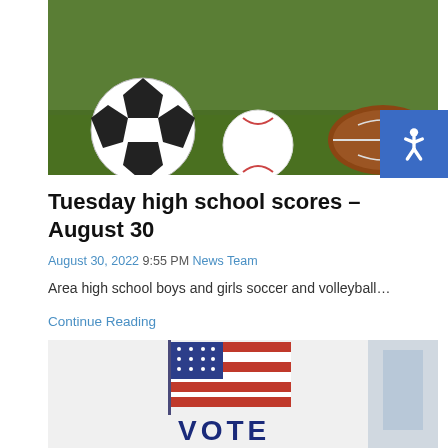[Figure (photo): Sports balls on grass — soccer ball, baseball, and football]
Tuesday high school scores – August 30
August 30, 2022 9:55 PM News Team
Area high school boys and girls soccer and volleyball…
Continue Reading
[Figure (photo): Voting booth with American flag graphic and VOTE text]